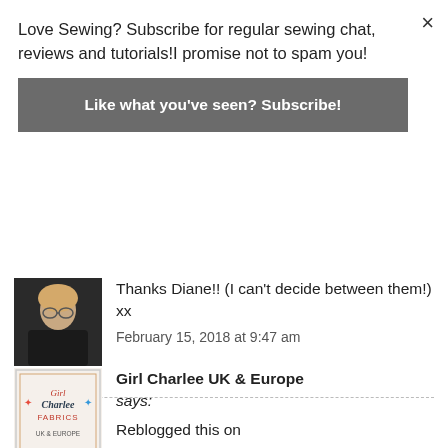Love Sewing? Subscribe for regular sewing chat, reviews and tutorials!I promise not to spam you!
Like what you've seen? Subscribe!
Thanks Diane!! (I can't decide between them!) xx
February 15, 2018 at 9:47 am
Like
Girl Charlee UK & Europe says:
Reblogged this on